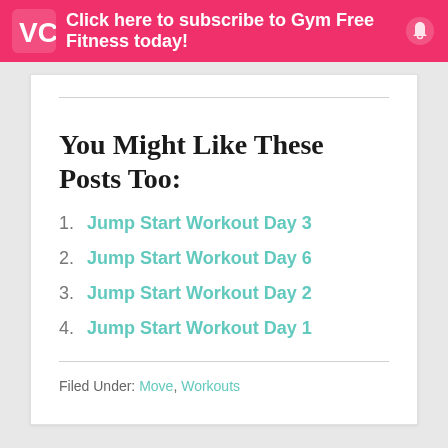Click here to subscribe to Gym Free Fitness today!
You Might Like These Posts Too:
1. Jump Start Workout Day 3
2. Jump Start Workout Day 6
3. Jump Start Workout Day 2
4. Jump Start Workout Day 1
Filed Under: Move, Workouts